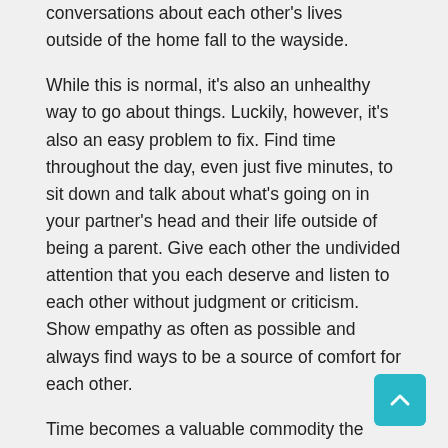conversations about each other's lives outside of the home fall to the wayside.
While this is normal, it's also an unhealthy way to go about things. Luckily, however, it's also an easy problem to fix. Find time throughout the day, even just five minutes, to sit down and talk about what's going on in your partner's head and their life outside of being a parent. Give each other the undivided attention that you each deserve and listen to each other without judgment or criticism. Show empathy as often as possible and always find ways to be a source of comfort for each other.
Time becomes a valuable commodity the minute you become a parent. While it's tempting to make your world revolve completely around your new child, it doesn't mean that you need to abandon your sense of identity, both as a person and as a partner. Not only will finding time to be romantic to one another be beneficial for you and your partner, it's also good